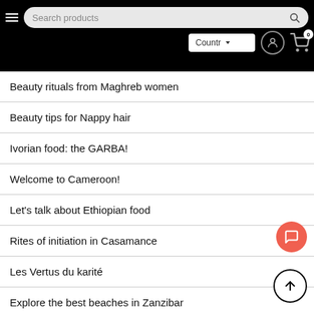Search products | Country dropdown | User icon | Cart (0)
Beauty rituals from Maghreb women
Beauty tips for Nappy hair
Ivorian food: the GARBA!
Welcome to Cameroon!
Let's talk about Ethiopian food
Rites of initiation in Casamance
Les Vertus du karité
Explore the best beaches in Zanzibar
Discovering the best beaches in Zanzibar
cooked / Moroccan lamb stew